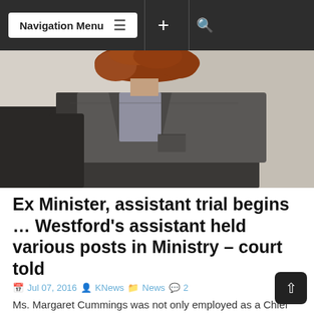Navigation Menu
[Figure (photo): A woman with curly red hair wearing a dark blazer and skirt, photographed from the neck down, standing indoors.]
Ex Minister, assistant trial begins … Westford's assistant held various posts in Ministry – court told
Jul 07, 2016  KNews  News  2
Ms. Margaret Cummings was not only employed as a Chief Personnel Officer during Dr. Jennifer Westford's tenure as Minister of Public Service. Cummings also performed duties as the